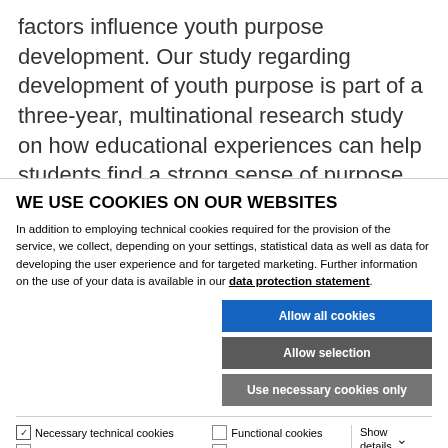factors influence youth purpose development. Our study regarding development of youth purpose is part of a three-year, multinational research study on how educational experiences can help students find a strong sense of purpose for their lives.
Leader: Kirsi Tirri
WE USE COOKIES ON OUR WEBSITES
In addition to employing technical cookies required for the provision of the service, we collect, depending on your settings, statistical data as well as data for developing the user experience and for targeted marketing. Further information on the use of your data is available in our data protection statement.
Allow all cookies
Allow selection
Use necessary cookies only
| Necessary technical cookies | Functional cookies | Show details |
| --- | --- | --- |
| Statistics cookies | Marketing cookies |  |